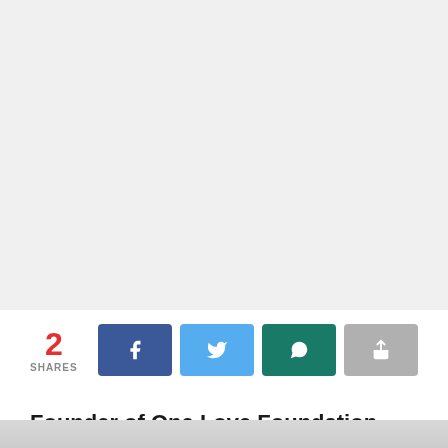[Figure (screenshot): Large gray/white empty content area at top of page]
2 SHARES
[Figure (infographic): Row of social share buttons: Facebook (dark blue with f icon), Twitter (light blue with bird icon), WhatsApp (dark teal with phone icon), Generic share (gray with arrow icon)]
Founder of One Love Foundation, Chief Patrick